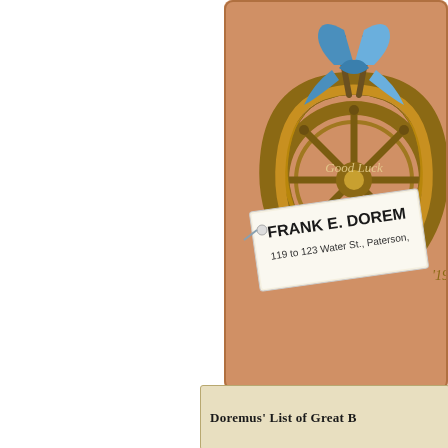[Figure (illustration): Victorian trade card with orange/tan background showing a horseshoe with a ship's wheel, blue ribbon bow, and nails. A white label reads 'FRANK E. DOREMU' and '119 to 123 Water St., Paterson,' with 'Good Luck' text inside the horseshoe.]
[Figure (illustration): Partial view of a second card with cream/beige background beginning to show text 'Doremus' List of Great B...']
Doremus' List of Great B